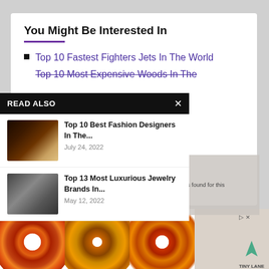You Might Be Interested In
Top 10 Fastest Fighters Jets In The World
Top 10 Most Expensive Woods In The [World]
[...] Belts In The World
[...] agazines In The World
[...] ion Of All Time
[...] In The World
[Figure (screenshot): READ ALSO overlay panel with two article thumbnails: 'Top 10 Best Fashion Designers In The...' (July 24, 2022) and 'Top 13 Most Luxurious Jewelry Brands In...' (May 12, 2022)]
[Figure (screenshot): Video error overlay: 'No compatible source was found for this']
[Figure (infographic): Advertisement showing three wreath items with PRICE DROP badges, and a Tiny Lane logo]